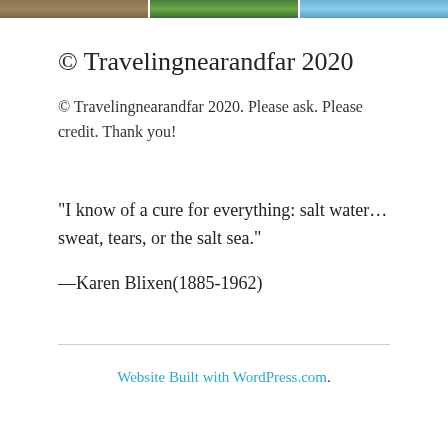[Figure (photo): Three partial photo thumbnails in a horizontal strip at the top: left shows a brownish animal/texture, middle shows green foliage/nature, right shows a blue sky/water scene.]
© Travelingnearandfar 2020
© Travelingnearandfar 2020. Please ask. Please credit. Thank you!
“I know of a cure for everything: salt water…sweat, tears, or the salt sea.”
—Karen Blixen(1885-1962)
Website Built with WordPress.com.